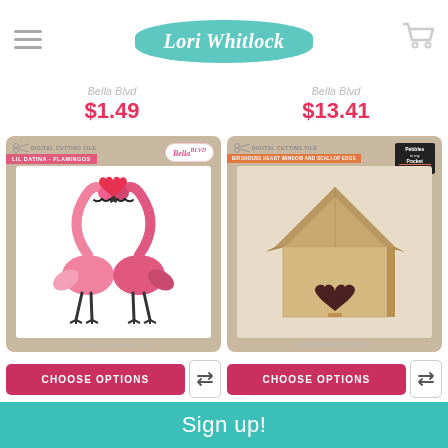Lori Whitlock
$1.49
$13.41
[Figure (photo): Product packaging image showing two pink flamingos forming a heart shape with a red heart above them, on a tan/beige background. Bella Blvd branding visible.]
[Figure (photo): Product packaging image showing a cardboard birdhouse with a heart-shaped window cutout, 3D box form, on a tan/beige background. Pebbles in my Pocket branding.]
CHOOSE OPTIONS
CHOOSE OPTIONS
Valentina Flamingos
Birdhouse With Heart Window And Scallop Edge
Bella Blud
Sign up!